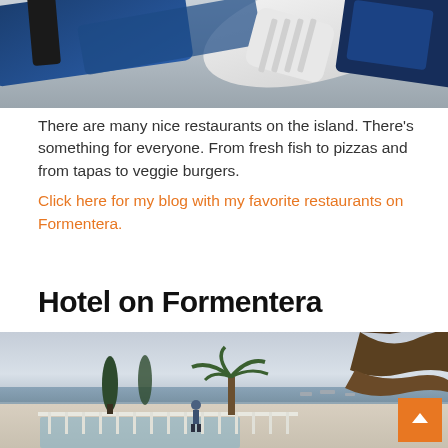[Figure (photo): Close-up photo of a blue and white restaurant or beach setting, partially cropped at the top of the page]
There are many nice restaurants on the island. There's something for everyone. From fresh fish to pizzas and from tapas to veggie burgers.
Click here for my blog with my favorite restaurants on Formentera.
Hotel on Formentera
[Figure (photo): Outdoor hotel or resort pool area with palm trees, thatched umbrellas, and a marina/sea view in the background on Formentera]